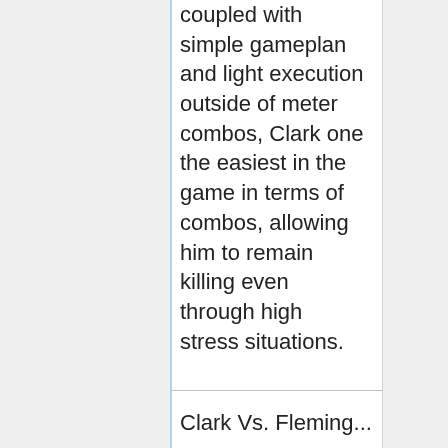coupled with simple gameplan and light execution outside of meter combos, Clark one the easiest in the game in terms of combos, allowing him to remain killing even through high stress situations.
Clark Vs. Fleming...